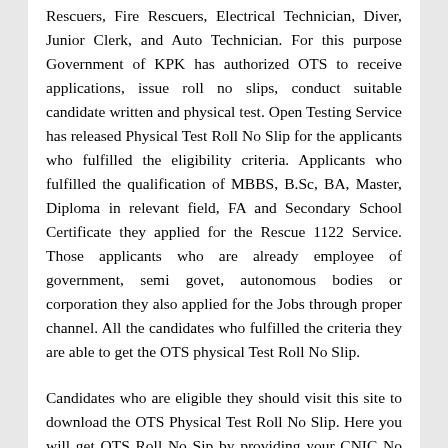Rescuers, Fire Rescuers, Electrical Technician, Diver, Junior Clerk, and Auto Technician. For this purpose Government of KPK has authorized OTS to receive applications, issue roll no slips, conduct suitable candidate written and physical test. Open Testing Service has released Physical Test Roll No Slip for the applicants who fulfilled the eligibility criteria. Applicants who fulfilled the qualification of MBBS, B.Sc, BA, Master, Diploma in relevant field, FA and Secondary School Certificate they applied for the Rescue 1122 Service. Those applicants who are already employee of government, semi govet, autonomous bodies or corporation they also applied for the Jobs through proper channel. All the candidates who fulfilled the criteria they are able to get the OTS physical Test Roll No Slip.
Candidates who are eligible they should visit this site to download the OTS Physical Test Roll No Slip. Here you will get OTS Roll No Sip by providing your CNIC No and also get how to download OTS Physical Test Roll No Slip. Here we provided all the information like application